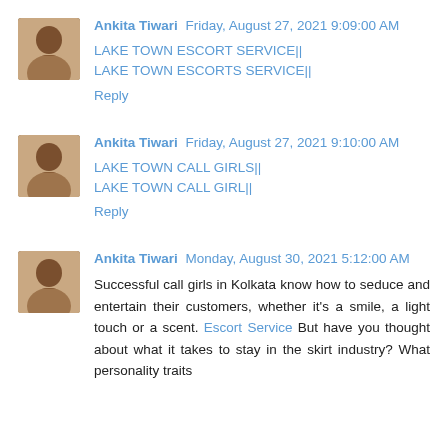Ankita Tiwari  Friday, August 27, 2021 9:09:00 AM
LAKE TOWN ESCORT SERVICE||
LAKE TOWN ESCORTS SERVICE||
Reply
Ankita Tiwari  Friday, August 27, 2021 9:10:00 AM
LAKE TOWN CALL GIRLS||
LAKE TOWN CALL GIRL||
Reply
Ankita Tiwari  Monday, August 30, 2021 5:12:00 AM
Successful call girls in Kolkata know how to seduce and entertain their customers, whether it's a smile, a light touch or a scent. Escort Service But have you thought about what it takes to stay in the skirt industry? What personality traits